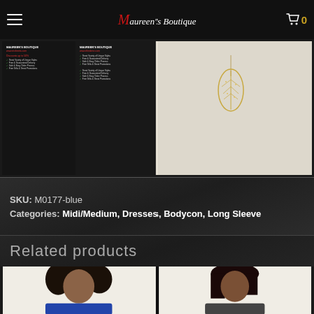Maureen's Boutique
[Figure (screenshot): Banner image showing Maureen's Boutique promotional material on dark background on left and a gold leaf pendant necklace on cream background on right]
SKU: M0177-blue
Categories: Midi/Medium, Dresses, Bodycon, Long Sleeve
Related products
[Figure (photo): Photo of a person with dark curly hair wearing a blue outfit]
[Figure (photo): Photo of a person with dark straight hair]